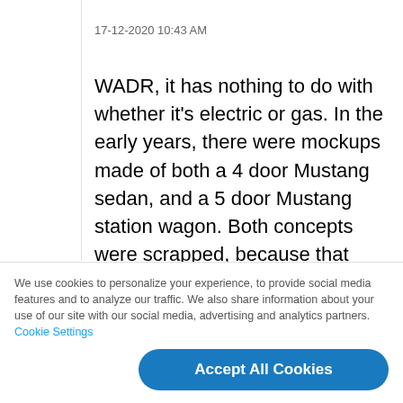17-12-2020 10:43 AM
WADR, it has nothing to do with whether it's electric or gas. In the early years, there were mockups made of both a 4 door Mustang sedan, and a 5 door Mustang station wagon. Both concepts were scrapped, because that wasn't what the Mustang was intended to be. I *might* consider buving an e- CAR (I.e.
We use cookies to personalize your experience, to provide social media features and to analyze our traffic. We also share information about your use of our site with our social media, advertising and analytics partners. Cookie Settings
Accept All Cookies